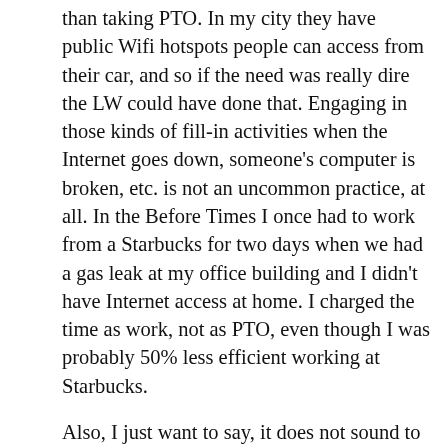than taking PTO. In my city they have public Wifi hotspots people can access from their car, and so if the need was really dire the LW could have done that. Engaging in those kinds of fill-in activities when the Internet goes down, someone's computer is broken, etc. is not an uncommon practice, at all. In the Before Times I once had to work from a Starbucks for two days when we had a gas leak at my office building and I didn't have Internet access at home. I charged the time as work, not as PTO, even though I was probably 50% less efficient working at Starbucks.
Also, I just want to say, it does not sound to me like the Big Bad Evil Manager *required* the LW to submit the time as PTO, just that she/he approved it when it was submitted. I think the LW could have been a little bit more creative and strategic, or even called their supervisor to strategize on how to charge